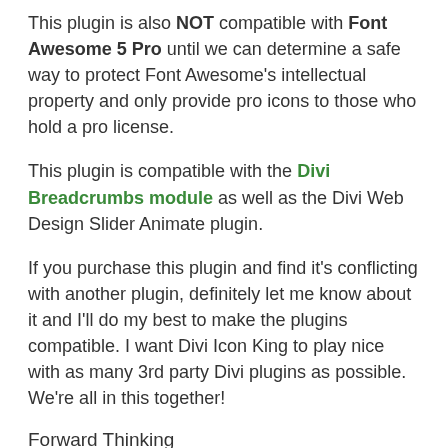This plugin is also NOT compatible with Font Awesome 5 Pro until we can determine a safe way to protect Font Awesome's intellectual property and only provide pro icons to those who hold a pro license.
This plugin is compatible with the Divi Breadcrumbs module as well as the Divi Web Design Slider Animate plugin.
If you purchase this plugin and find it's conflicting with another plugin, definitely let me know about it and I'll do my best to make the plugins compatible. I want Divi Icon King to play nice with as many 3rd party Divi plugins as possible. We're all in this together!
Forward Thinking